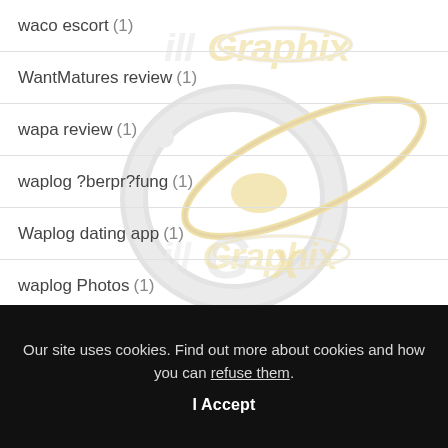waco escort (1)
WantMatures review (1)
wapa review (1)
waplog ?berpr?fung (1)
Waplog dating app (1)
waplog Photos (1)
Our site uses cookies. Find out more about cookies and how you can refuse them.
I Accept